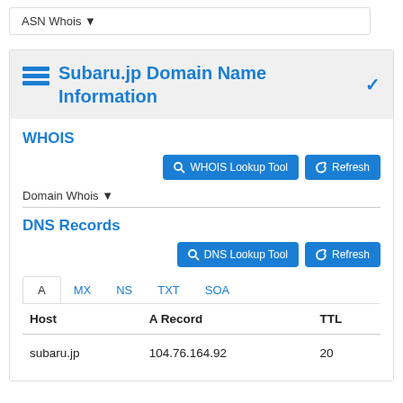ASN Whois ▼
Subaru.jp Domain Name Information
WHOIS
Domain Whois ▼
DNS Records
| Host | A Record | TTL |
| --- | --- | --- |
| subaru.jp | 104.76.164.92 | 20 |